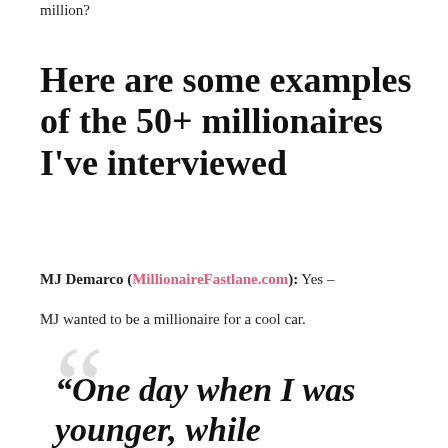million?
Here are some examples of the 50+ millionaires I've interviewed
MJ Demarco (MillionaireFastlane.com): Yes – MJ wanted to be a millionaire for a cool car.
“One day when I was younger, while